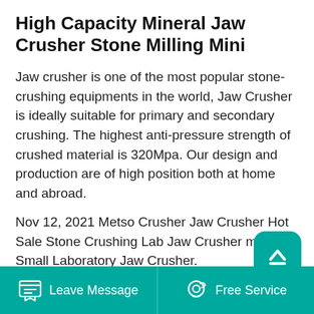High Capacity Mineral Jaw Crusher Stone Milling Mini
Jaw crusher is one of the most popular stone-crushing equipments in the world, Jaw Crusher is ideally suitable for primary and secondary crushing. The highest anti-pressure strength of crushed material is 320Mpa. Our design and production are of high position both at home and abroad.
Nov 12, 2021 Metso Crusher Jaw Crusher Hot Sale Stone Crushing Lab Jaw Crusher mini Small Laboratory Jaw Crusher. $450.00-$650.00 Set. 1 Set (Min. Order) Shicheng Oasis Mineral Equipment Manufacturing . CN 11 YRS. 5.0 ( 2) nice service fast delivery . Contact Supplier. Compare. Metso Factory price HD German jaw crusher with best
Leave Message   Free Service